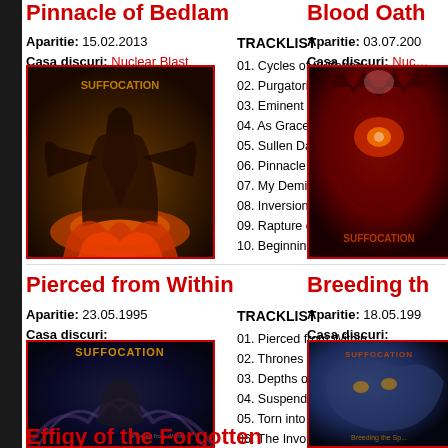Pinnacle of Bedlam
Aparitie: 15.02.2013
Casa discuri: Nuclear Blast Records
[Figure (photo): Suffocation - Pinnacle of Bedlam album cover artwork]
TRACKLIST
01. Cycles of Suffering
02. Purgatorial Punishment
03. Eminent Wrath
04. As Grace Descends
05. Sullen Days
06. Pinnacle of Bedlam
07. My Demise
08. Inversion
09. Rapture of Revocation
10. Beginning of Sorrow
Blood Oath (partial)
Aparitie: 03.07.200...
Casa discuri: Nuclear Blast Records
[Figure (photo): Suffocation - Blood Oath album cover artwork (partially visible)]
Pierced from Within
Aparitie: 23.05.1995
Casa discuri: Roadrunner
[Figure (photo): Suffocation - Pierced from Within album cover artwork]
TRACKLIST
01. Pierced from Within
02. Thrones of Blood
03. Depths of Depravity
04. Suspended in Tribulation
05. Torn into Enthrallment
06. The Invoking
07. Synthetically Revived
08. Brood of Hatred
09. Breeding the Spawn
Breeding th... (partial)
Aparitie: 18.05.199...
Casa discuri: Roadrunner
[Figure (photo): Suffocation - Breeding the Spawn album cover artwork (partially visible)]
Effigy of the Forgotten